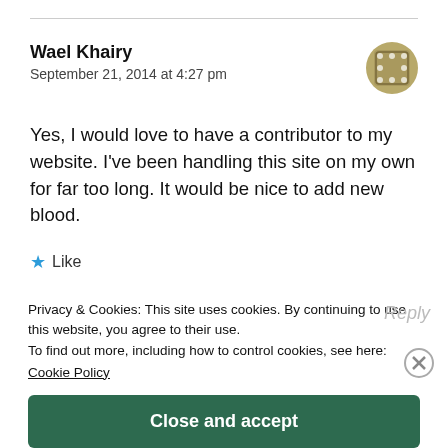Wael Khairy
September 21, 2014 at 4:27 pm
Yes, I would love to have a contributor to my website. I've been handling this site on my own for far too long. It would be nice to add new blood.
★ Like
Privacy & Cookies: This site uses cookies. By continuing to use this website, you agree to their use.
To find out more, including how to control cookies, see here:
Cookie Policy
Close and accept